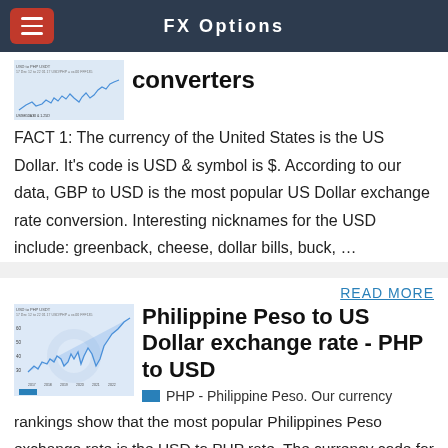FX Options
[Figure (line-chart): Small thumbnail line chart showing USD exchange rate history]
converters
FACT 1: The currency of the United States is the US Dollar. It's code is USD & symbol is $. According to our data, GBP to USD is the most popular US Dollar exchange rate conversion. Interesting nicknames for the USD include: greenback, cheese, dollar bills, buck, …
READ MORE
[Figure (line-chart): Small thumbnail line chart showing USD to PHP exchange rate history over time]
Philippine Peso to US Dollar exchange rate - PHP to USD
PHP - Philippine Peso. Our currency rankings show that the most popular Philippines Peso exchange rate is the USD to PHP rate. The currency code for Pesos is PHP, and the currency symbol is ₱. More Philippine Peso info >